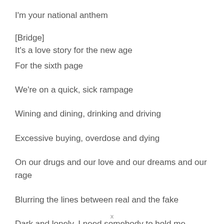I'm your national anthem
[Bridge]
It's a love story for the new age
For the sixth page
We're on a quick, sick rampage
Wining and dining, drinking and driving
Excessive buying, overdose and dying
On our drugs and our love and our dreams and our rage
Blurring the lines between real and the fake
Dark and lonely, I need somebody to hold me
x